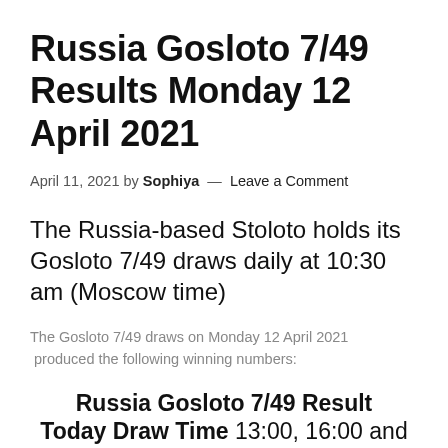Russia Gosloto 7/49 Results Monday 12 April 2021
April 11, 2021 by Sophiya — Leave a Comment
The Russia-based Stoloto holds its Gosloto 7/49 draws daily at 10:30 am (Moscow time)
The Gosloto 7/49 draws on Monday 12 April 2021 produced the following winning numbers:
Russia Gosloto 7/49 Result Today Draw Time 13:00, 16:00 and